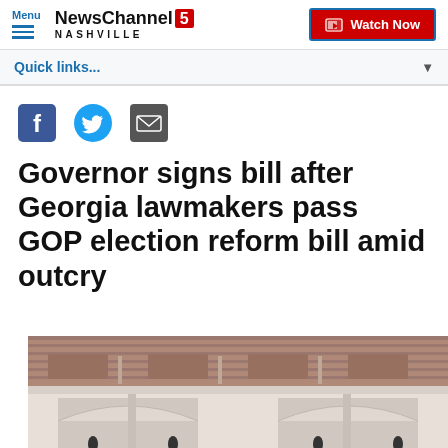Menu | NewsChannel 5 NASHVILLE | Watch Now
Quick links...
[Figure (other): Social share buttons: Facebook, Twitter, Email]
Governor signs bill after Georgia lawmakers pass GOP election reform bill amid outcry
[Figure (photo): Exterior of a brick building with arched windows and columns, people visible below]